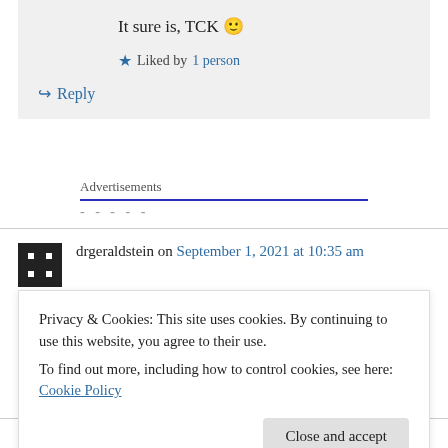It sure is, TCK 🙂
★ Liked by 1 person
↳ Reply
Advertisements
drgeraldstein on September 1, 2021 at 10:35 am
Brava, Rosalionol
Privacy & Cookies: This site uses cookies. By continuing to use this website, you agree to their use.
To find out more, including how to control cookies, see here: Cookie Policy
Close and accept
Reply · Reply · September 1, 2021